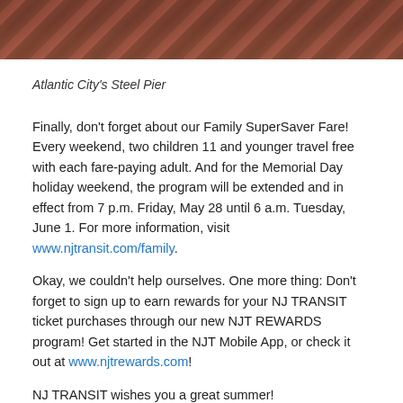[Figure (photo): Photo strip showing Atlantic City's Steel Pier, reddish-brown tones, aerial or architectural view.]
Atlantic City's Steel Pier
Finally, don't forget about our Family SuperSaver Fare! Every weekend, two children 11 and younger travel free with each fare-paying adult. And for the Memorial Day holiday weekend, the program will be extended and in effect from 7 p.m. Friday, May 28 until 6 a.m. Tuesday, June 1. For more information, visit www.njtransit.com/family.
Okay, we couldn't help ourselves. One more thing: Don't forget to sign up to earn rewards for your NJ TRANSIT ticket purchases through our new NJT REWARDS program! Get started in the NJT Mobile App, or check it out at www.njtrewards.com!
NJ TRANSIT wishes you a great summer!